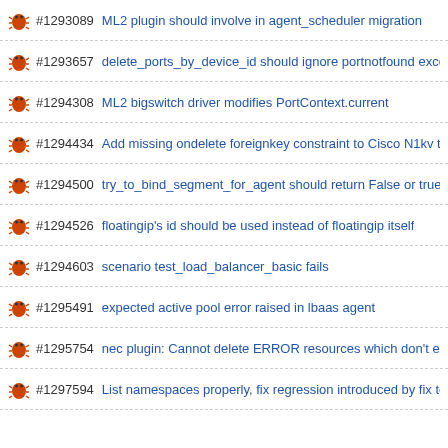#1293089 ML2 plugin should involve in agent_scheduler migration
#1293657 delete_ports_by_device_id should ignore portnotfound excep
#1294308 ML2 bigswitch driver modifies PortContext.current
#1294434 Add missing ondelete foreignkey constraint to Cisco N1kv tabl
#1294500 try_to_bind_segment_for_agent should return False or true
#1294526 floatingip's id should be used instead of floatingip itself
#1294603 scenario test_load_balancer_basic fails
#1295491 expected active pool error raised in lbaas agent
#1295754 nec plugin: Cannot delete ERROR resources which don't exist
#1297594 List namespaces properly, fix regression introduced by fix to 1